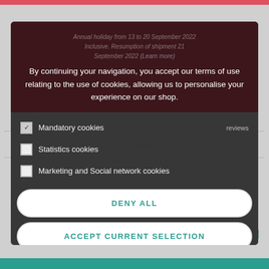Annual holiday from 13 to 20 September 2022 Inclusive. Resumption of shipment 21 September 2022 (Learn more)
By continuing your navigation, you accept our terms of use relating to the use of cookies, allowing us to personalise your experience on our shop.
Read more
2 reviews
Ceramic Utensil Holder Mannele Gingerbread
Ceramic Butter Dish Mannele decor in
€16.00
€10.00
Mandatory cookies
Statistics cookies
Marketing and Social network cookies
DENY ALL
ACCEPT CURRENT SELECTION